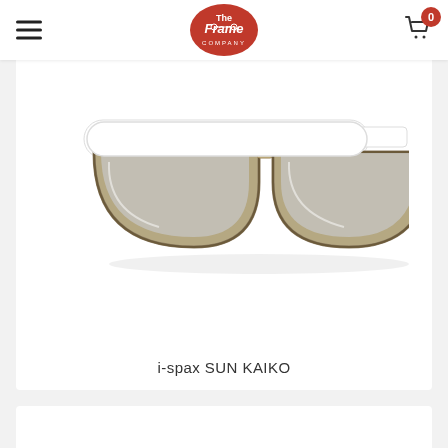The Frame Company — navigation bar with hamburger menu and cart (0 items)
[Figure (photo): Product photo of i-spax SUN KAIKO sunglasses: flat-top style frames with white upper rim and tortoise/gold semi-circular lenses with silver mirrored tint, displayed on white background]
i-spax SUN KAIKO